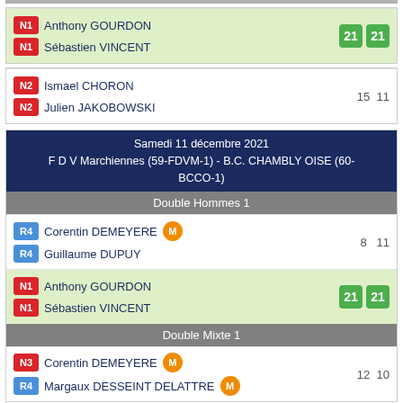| N1 | Anthony GOURDON | 21 | 21 |
| N1 | Sébastien VINCENT |  |  |
| N2 | Ismael CHORON | 15 | 11 |
| N2 | Julien JAKOBOWSKI |  |  |
Samedi 11 décembre 2021
F D V Marchiennes (59-FDVM-1) - B.C. CHAMBLY OISE (60-BCCO-1)
Double Hommes 1
| R4 | Corentin DEMEYERE [M] | 8 | 11 |
| R4 | Guillaume DUPUY |  |  |
| N1 | Anthony GOURDON | 21 | 21 |
| N1 | Sébastien VINCENT |  |  |
Double Mixte 1
| N3 | Corentin DEMEYERE [M] | 12 | 10 |
| R4 | Margaux DESSEINT DELATTRE [M] |  |  |